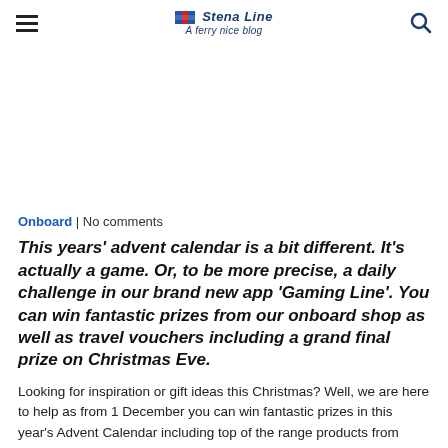≡  Stena Line  A ferry nice blog  🔍
Onboard | No comments
This years' advent calendar is a bit different. It's actually a game. Or, to be more precise, a daily challenge in our brand new app 'Gaming Line'. You can win fantastic prizes from our onboard shop as well as travel vouchers including a grand final prize on Christmas Eve.
Looking for inspiration or gift ideas this Christmas? Well, we are here to help as from 1 December you can win fantastic prizes in this year's Advent Calendar including top of the range products from Clarins gift set